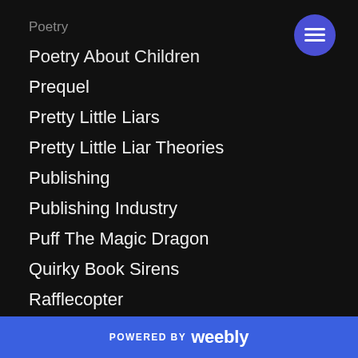Poetry
Poetry About Children
Prequel
Pretty Little Liars
Pretty Little Liar Theories
Publishing
Publishing Industry
Puff The Magic Dragon
Quirky Book Sirens
Rafflecopter
Rafflecopter Giveaway
POWERED BY weebly